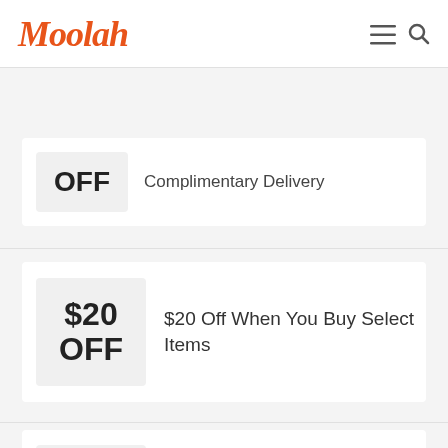Moolah
OFF — Complimentary Delivery
$20 OFF — $20 Off When You Buy Select Items
SALE — Start The New Year Off Right W/ Healthy Organic Snacks...